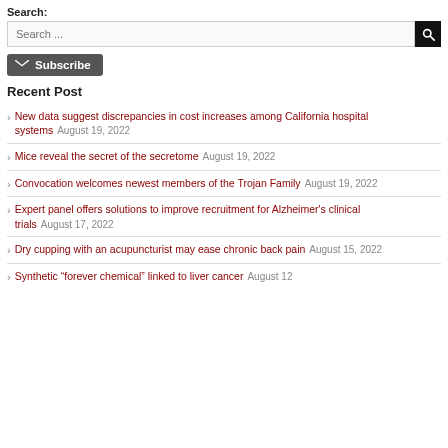Search:
Search ...
Subscribe
Recent Post
New data suggest discrepancies in cost increases among California hospital systems August 19, 2022
Mice reveal the secret of the secretome August 19, 2022
Convocation welcomes newest members of the Trojan Family August 19, 2022
Expert panel offers solutions to improve recruitment for Alzheimer's clinical trials August 17, 2022
Dry cupping with an acupuncturist may ease chronic back pain August 15, 2022
Synthetic “forever chemical” linked to liver cancer August 12